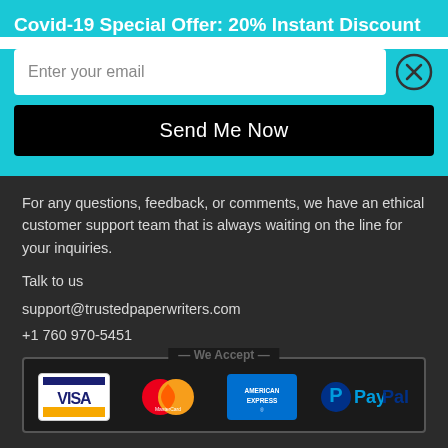Covid-19 Special Offer: 20% Instant Discount
Enter your email
Send Me Now
For any questions, feedback, or comments, we have an ethical customer support team that is always waiting on the line for your inquiries.
Talk to us
support@trustedpaperwriters.com
+1 760 970-5451
[Figure (infographic): We Accept payment logos: Visa, MasterCard, American Express, PayPal]
Chat with us on Whatsapp